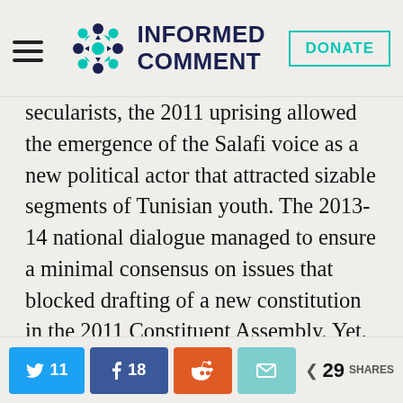Informed Comment
secularists, the 2011 uprising allowed the emergence of the Salafi voice as a new political actor that attracted sizable segments of Tunisian youth. The 2013-14 national dialogue managed to ensure a minimal consensus on issues that blocked drafting of a new constitution in the 2011 Constituent Assembly. Yet, key issues were either avoided or formulated in vague language. Besides, the participative Salafi voice was not formally present at the
11 Twitter shares, 18 Facebook shares, Reddit share, Email share, 29 total shares